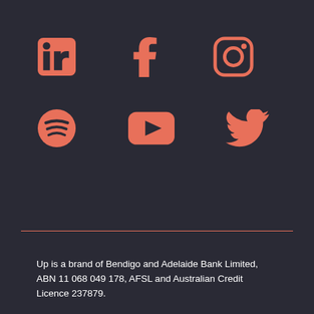[Figure (illustration): Six social media icons arranged in two rows on a dark background. Row 1: LinkedIn, Facebook, Instagram. Row 2: Spotify, YouTube, Twitter. All icons are salmon/coral colored (#e8705a).]
Up is a brand of Bendigo and Adelaide Bank Limited, ABN 11 068 049 178, AFSL and Australian Credit Licence 237879.